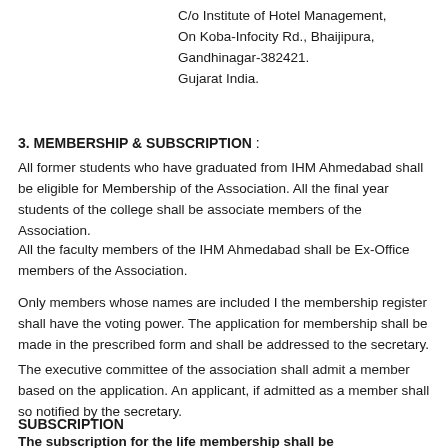C/o Institute of Hotel Management,
On Koba-Infocity Rd., Bhaijipura,
Gandhinagar-382421.
Gujarat India.
3. MEMBERSHIP & SUBSCRIPTION :
All former students who have graduated from IHM Ahmedabad shall be eligible for Membership of the Association. All the final year students of the college shall be associate members of the Association.
All the faculty members of the IHM Ahmedabad shall be Ex-Office members of the Association.
Only members whose names are included I the membership register shall have the voting power. The application for membership shall be made in the prescribed form and shall be addressed to the secretary.
The executive committee of the association shall admit a member based on the application. An applicant, if admitted as a member shall so notified by the secretary.
SUBSCRIPTION
The subscription for the life membership shall be